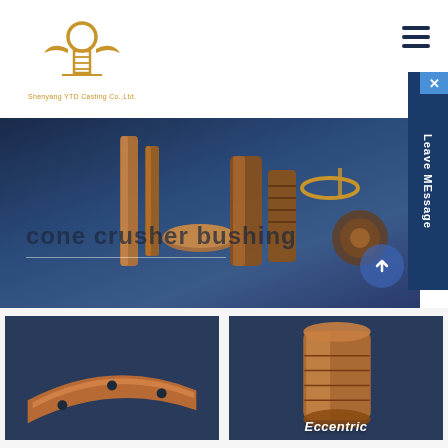[Figure (logo): Shenyang YTD Casting Co., Ltd. logo — golden torch/lamp with wings and grid base symbol, with company name below]
[Figure (photo): Website navigation hamburger menu icon — three dark horizontal bars in top right corner]
[Figure (infographic): Leave Message sidebar tab in dark blue on right edge, with X close button above it]
[Figure (photo): Hero banner with dark blue gradient background showing various copper/bronze cone crusher bushing parts arranged in center. Text overlay reads 'cone crusher bushing' in dark semi-transparent letters.]
[Figure (photo): Bottom left product card showing a curved copper/bronze bushing part (frame/shell bushing) against dark blue background]
[Figure (photo): Bottom right product card showing a cylindrical copper bushing (eccentric bushing) with text 'Eccentric' partially visible at bottom, against dark blue background]